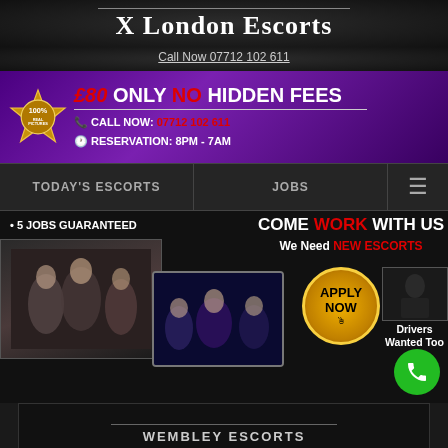X London Escorts
Call Now 07712 102 611
[Figure (infographic): Purple gradient banner advertising £80 rate with no hidden fees, phone number 07712 102 611, reservation hours 8PM-7AM, and a 100% Real Pictures guarantee badge]
TODAY'S ESCORTS   JOBS   ≡
[Figure (infographic): Jobs recruitment section: 5 JOBS GUARANTEED, COME WORK WITH US, We Need NEW ESCORTS, with APPLY NOW button, photos of women, and Drivers Wanted Too section]
WEMBLEY ESCORTS